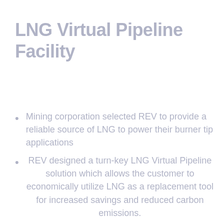LNG Virtual Pipeline Facility
Mining corporation selected REV to provide a reliable source of LNG to power their burner tip applications
REV designed a turn-key LNG Virtual Pipeline solution which allows the customer to economically utilize LNG as a replacement tool for increased savings and reduced carbon emissions.